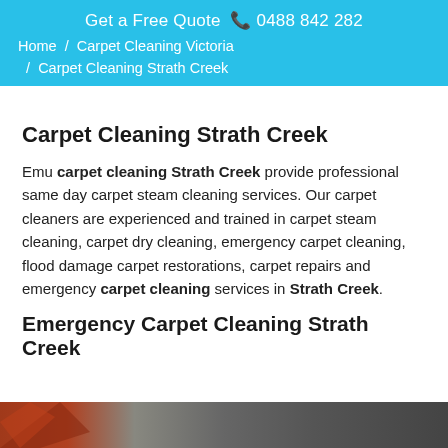Get a Free Quote ☎ 0488 842 282
Home / Carpet Cleaning Victoria / Carpet Cleaning Strath Creek
Carpet Cleaning Strath Creek
Emu carpet cleaning Strath Creek provide professional same day carpet steam cleaning services. Our carpet cleaners are experienced and trained in carpet steam cleaning, carpet dry cleaning, emergency carpet cleaning, flood damage carpet restorations, carpet repairs and emergency carpet cleaning services in Strath Creek.
Emergency Carpet Cleaning Strath Creek
[Figure (photo): Partial view of a carpet or floor surface image at the bottom of the page]